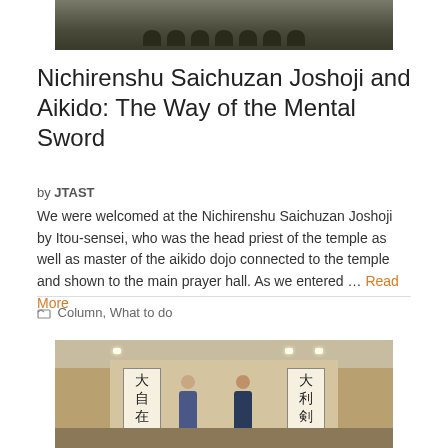[Figure (photo): Group of people seated in a dojo or temple, viewed from the front, on a tatami mat floor]
Nichirenshu Saichuzan Joshoji and Aikido: The Way of the Mental Sword
by JTAST
We were welcomed at the Nichirenshu Saichuzan Joshoji by Itou-sensei, who was the head priest of the temple as well as master of the aikido dojo connected to the temple and shown to the main prayer hall. As we entered … Read More
Column, What to do
[Figure (photo): Two men shaking hands inside a traditional Japanese prayer hall with wooden panels and kanji calligraphy scrolls on either side]